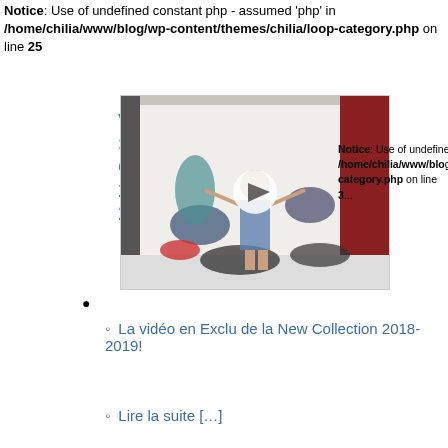Notice: Use of undefined constant php - assumed 'php' in /home/chilia/www/blog/wp-content/themes/chilia/loop-category.php on line 25
Vidéo du Shooting Chilia 2018-2019!
[Figure (photo): Video thumbnail showing a person in a photography studio holding clothing items, with a play button overlay. White backdrop and studio lighting setup visible.]
Notice: Use of undefined constant php - assumed 'php' in /home/chilia/www/blog/wp-content/themes/chilia/loop-category.php on line 3...
La vidéo en Exclu de la New Collection 2018-2019!
Lire la suite […]